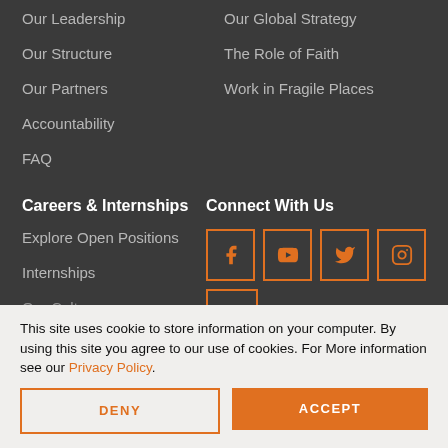Our Leadership
Our Global Strategy
Our Structure
The Role of Faith
Our Partners
Work in Fragile Places
Accountability
FAQ
Careers & Internships
Connect With Us
Explore Open Positions
[Figure (infographic): Social media icons: Facebook, YouTube, Twitter, Instagram, LinkedIn — each in an orange-bordered square box]
Internships
Our Culture
This site uses cookie to store information on your computer. By using this site you agree to our use of cookies. For More information see our Privacy Policy.
DENY
ACCEPT